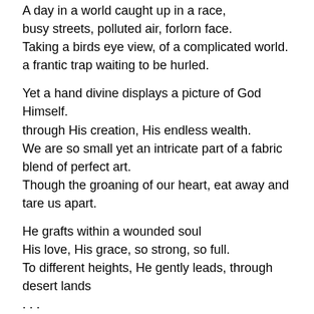A day in a world caught up in a race,
busy streets, polluted air, forlorn face.
Taking a birds eye view, of a complicated world.
a frantic trap waiting to be hurled.
Yet a hand divine displays a picture of God Himself.
through His creation, His endless wealth.
We are so small yet an intricate part of a fabric blend of perfect art.
Though the groaning of our heart, eat away and tare us apart.
He grafts within a wounded soul
His love, His grace, so strong, so full.
To different heights, He gently leads, through desert lands
. . .
then mountain weeds.